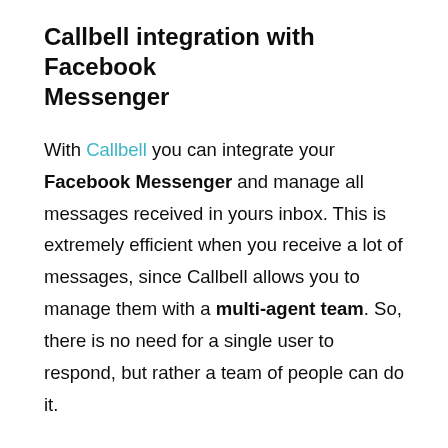Callbell integration with Facebook Messenger
With Callbell you can integrate your Facebook Messenger and manage all messages received in yours inbox. This is extremely efficient when you receive a lot of messages, since Callbell allows you to manage them with a multi-agent team. So, there is no need for a single user to respond, but rather a team of people can do it.
Plus, Callbell allows you to manage